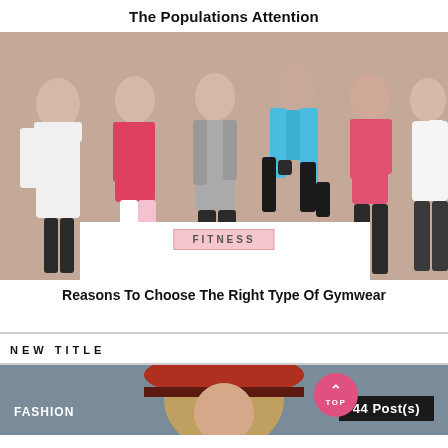The Populations Attention
[Figure (photo): Six women in various athletic/fitness outfits posing against a beige/taupe background. Outfits include white, pink, gray, blue, and black gymwear.]
FITNESS
Reasons To Choose The Right Type Of Gymwear
NEW TITLE
[Figure (photo): Bottom partial image showing a person wearing a red/orange hat, against a gray-blue background. Labels show FASHION on the left and 44 Post(s) on the right. A pink circular TOP button is visible.]